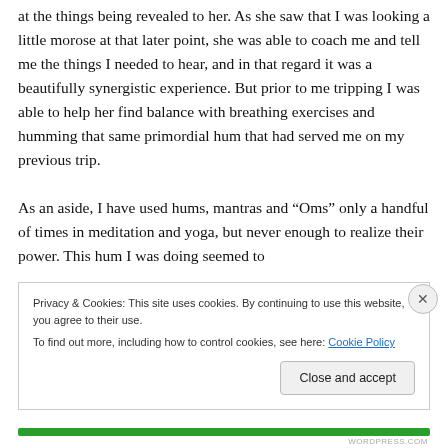at the things being revealed to her. As she saw that I was looking a little morose at that later point, she was able to coach me and tell me the things I needed to hear, and in that regard it was a beautifully synergistic experience. But prior to me tripping I was able to help her find balance with breathing exercises and humming that same primordial hum that had served me on my previous trip.

As an aside, I have used hums, mantras and “Oms” only a handful of times in meditation and yoga, but never enough to realize their power. This hum I was doing seemed to
Privacy & Cookies: This site uses cookies. By continuing to use this website, you agree to their use.
To find out more, including how to control cookies, see here: Cookie Policy
Close and accept